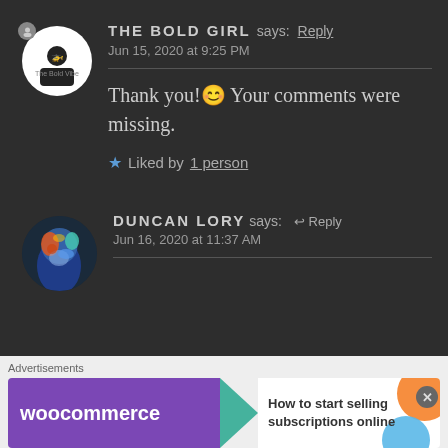THE BOLD GIRL says: Reply
Jun 15, 2020 at 9:25 PM
Thank you!😊 Your comments were missing.
★ Liked by 1 person
DUNCAN LORY says: ↩ Reply
Jun 16, 2020 at 11:37 AM
Advertisements
[Figure (screenshot): WooCommerce advertisement banner: purple background with WooCommerce logo, teal arrow pointing right, and text 'How to start selling subscriptions online' with orange and blue decorative blobs.]